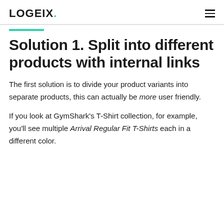LOGEIX.
Solution 1. Split into different products with internal links
The first solution is to divide your product variants into separate products, this can actually be more user friendly.
If you look at GymShark's T-Shirt collection, for example, you'll see multiple Arrival Regular Fit T-Shirts each in a different color.